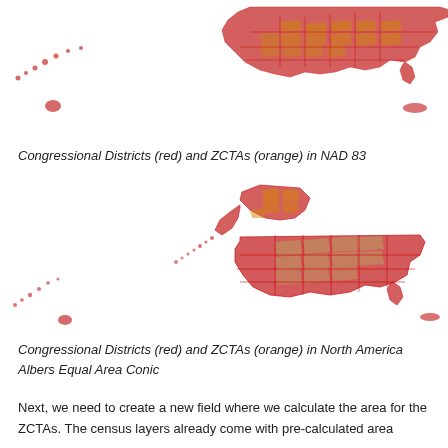[Figure (map): Map of the United States including Hawaii and Alaska showing Congressional Districts in red and ZCTAs in orange/tan, projected in NAD 83. The continental US appears in upper right with red outlines and tan/orange fill patterns. Hawaii appears as small islands in lower left. A small island appears at right edge.]
Congressional Districts (red) and ZCTAs (orange) in NAD 83
[Figure (map): Map of the United States including Hawaii and Alaska showing Congressional Districts in red and ZCTAs in orange/tan, projected in North America Albers Equal Area Conic. Continental US appears lower right with red outlines and tan fill. Alaska appears upper center with orange/tan ZCTA overlay. Hawaii islands appear as dotted chain lower left.]
Congressional Districts (red) and ZCTAs (orange) in North America Albers Equal Area Conic
Next, we need to create a new field where we calculate the area for the ZCTAs. The census layers already come with pre-calculated area